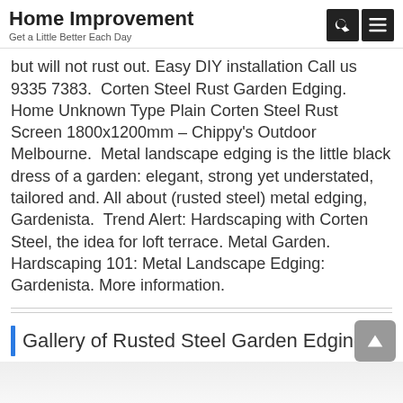Home Improvement
Get a Little Better Each Day
but will not rust out. Easy DIY installation Call us 9335 7383.  Corten Steel Rust Garden Edging.  Home Unknown Type Plain Corten Steel Rust Screen 1800x1200mm – Chippy's Outdoor Melbourne.  Metal landscape edging is the little black dress of a garden: elegant, strong yet understated, tailored and. All about (rusted steel) metal edging, Gardenista.  Trend Alert: Hardscaping with Corten Steel, the idea for loft terrace. Metal Garden. Hardscaping 101: Metal Landscape Edging: Gardenista. More information.
Gallery of Rusted Steel Garden Edging